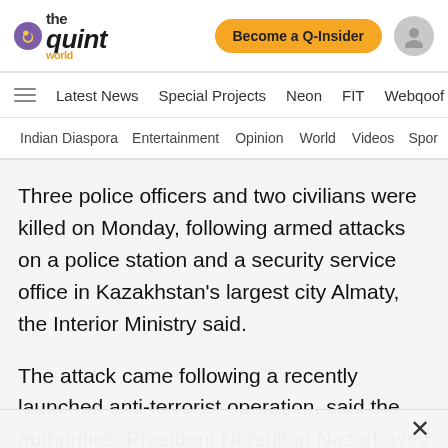[Figure (logo): The Quint World logo with purple circle icon]
Become a Q-Insider
Latest News   Special Projects   Neon   FIT   Webqoof
Indian Diaspora   Entertainment   Opinion   World   Videos   Spor
Three police officers and two civilians were killed on Monday, following armed attacks on a police station and a security service office in Kazakhstan’s largest city Almaty, the Interior Ministry said.
The attack came following a recently launched anti-terrorist operation, said the authorities. President Nursultan Nazarbayev called the shootout “a terrorist act”.